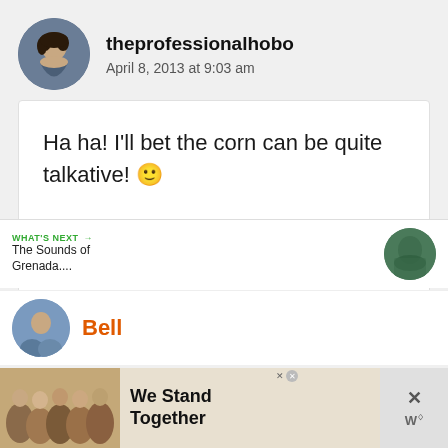[Figure (photo): Circular avatar photo of a woman with dark hair, website author theprofessionalhobo]
theprofessionalhobo
April 8, 2013 at 9:03 am
Ha ha! I'll bet the corn can be quite talkative! 🙂
Reply
WHAT'S NEXT → The Sounds of Grenada....
Bell
[Figure (photo): Ad banner showing group of people with text 'We Stand Together']